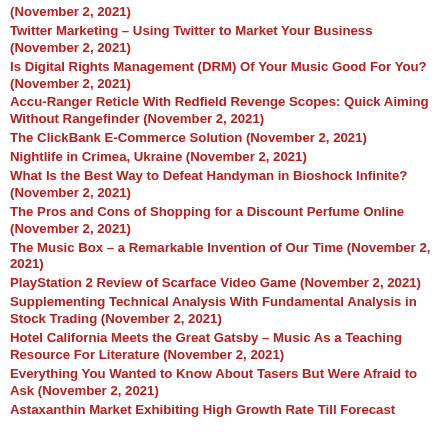(November 2, 2021)
Twitter Marketing – Using Twitter to Market Your Business (November 2, 2021)
Is Digital Rights Management (DRM) Of Your Music Good For You? (November 2, 2021)
Accu-Ranger Reticle With Redfield Revenge Scopes: Quick Aiming Without Rangefinder (November 2, 2021)
The ClickBank E-Commerce Solution (November 2, 2021)
Nightlife in Crimea, Ukraine (November 2, 2021)
What Is the Best Way to Defeat Handyman in Bioshock Infinite? (November 2, 2021)
The Pros and Cons of Shopping for a Discount Perfume Online (November 2, 2021)
The Music Box – a Remarkable Invention of Our Time (November 2, 2021)
PlayStation 2 Review of Scarface Video Game (November 2, 2021)
Supplementing Technical Analysis With Fundamental Analysis in Stock Trading (November 2, 2021)
Hotel California Meets the Great Gatsby – Music As a Teaching Resource For Literature (November 2, 2021)
Everything You Wanted to Know About Tasers But Were Afraid to Ask (November 2, 2021)
Astaxanthin Market Exhibiting High Growth Rate Till Forecast